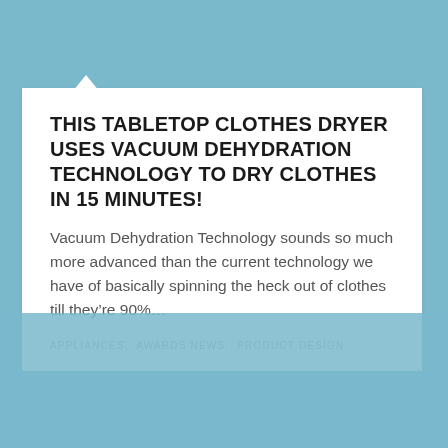THIS TABLETOP CLOTHES DRYER USES VACUUM DEHYDRATION TECHNOLOGY TO DRY CLOTHES IN 15 MINUTES!
Vacuum Dehydration Technology sounds so much more advanced than the current technology we have of basically spinning the heck out of clothes till they’re 90%…
APPLIANCES,  AWARDS NEWS,  PRODUCT DESIGN